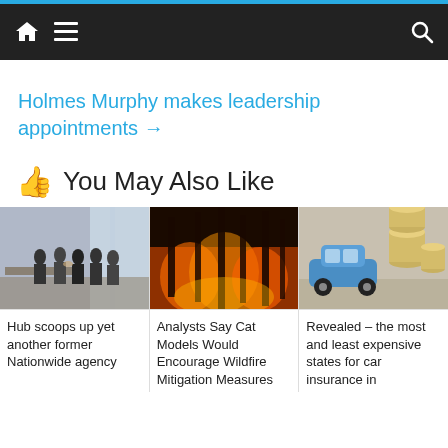Navigation bar with home, menu, and search icons
Holmes Murphy makes leadership appointments →
👍 You May Also Like
[Figure (photo): Business people shaking hands in a modern office with large windows]
[Figure (photo): Wildfire burning through a forest with orange flames and smoke]
[Figure (photo): Toy blue car next to stacked coins, representing car insurance costs]
Hub scoops up yet another former Nationwide agency
Analysts Say Cat Models Would Encourage Wildfire Mitigation Measures
Revealed – the most and least expensive states for car insurance in